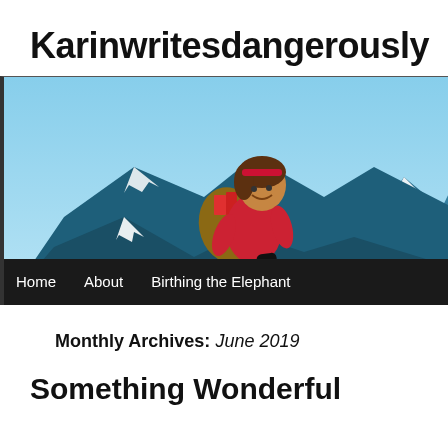Karinwritesdangerously
[Figure (illustration): Blog banner illustration showing a cartoon woman in a red jacket with a backpack full of books, leaping dynamically across snow-capped mountain peaks against a light blue sky background.]
Monthly Archives: June 2019
Something Wonderful